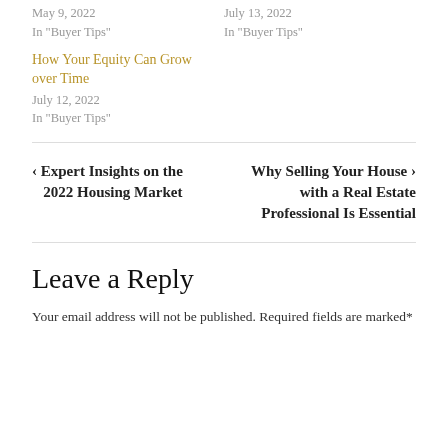May 9, 2022
In "Buyer Tips"
July 13, 2022
In "Buyer Tips"
How Your Equity Can Grow over Time
July 12, 2022
In "Buyer Tips"
‹ Expert Insights on the 2022 Housing Market
Why Selling Your House with a Real Estate Professional Is Essential ›
Leave a Reply
Your email address will not be published. Required fields are marked*